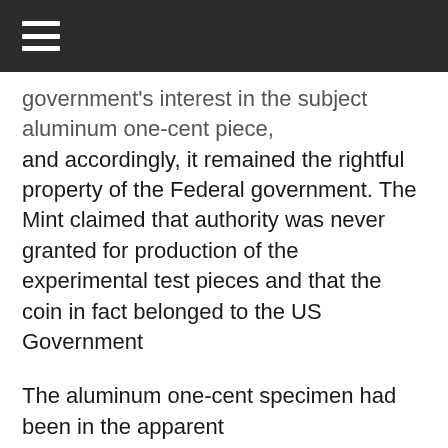☰
government's interest in the subject aluminum one-cent piece, and accordingly, it remained the rightful property of the Federal government. The Mint claimed that authority was never granted for production of the experimental test pieces and that the coin in fact belonged to the US Government
The aluminum one-cent specimen had been in the apparent